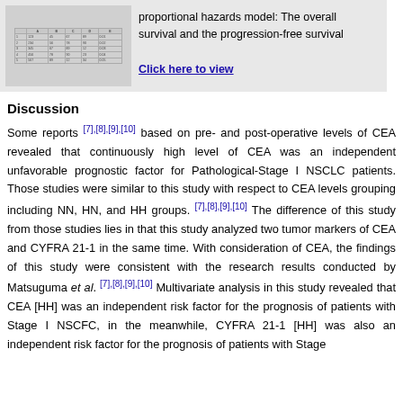[Figure (table-as-image): Thumbnail image of a data table showing survival statistics]
proportional hazards model: The overall survival and the progression-free survival
Click here to view
Discussion
Some reports [7],[8],[9],[10] based on pre- and post-operative levels of CEA revealed that continuously high level of CEA was an independent unfavorable prognostic factor for Pathological-Stage I NSCLC patients. Those studies were similar to this study with respect to CEA levels grouping including NN, HN, and HH groups. [7],[8],[9],[10] The difference of this study from those studies lies in that this study analyzed two tumor markers of CEA and CYFRA 21-1 in the same time. With consideration of CEA, the findings of this study were consistent with the research results conducted by Matsuguma et al. [7],[8],[9],[10] Multivariate analysis in this study revealed that CEA [HH] was an independent risk factor for the prognosis of patients with Stage I NSCFC, in the meanwhile, CYFRA 21-1 [HH] was also an independent risk factor for the prognosis of patients with Stage